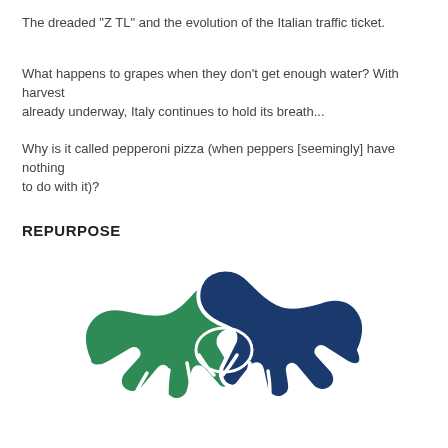The dreaded "ZTL" and the evolution of the Italian traffic ticket.
What happens to grapes when they don't get enough water? With harvest already underway, Italy continues to hold its breath...
Why is it called pepperoni pizza (when peppers [seemingly] have nothing to do with it)?
REPURPOSE
[Figure (illustration): A handshake icon showing two hands clasped together — one green and one dark blue — illustrated in a flat graphic style with white outline details.]